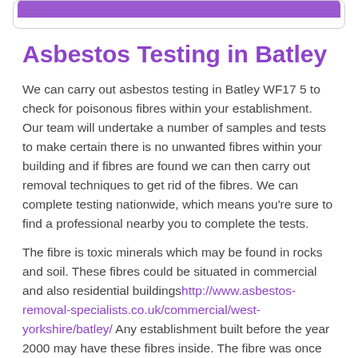Asbestos Testing in Batley
We can carry out asbestos testing in Batley WF17 5 to check for poisonous fibres within your establishment. Our team will undertake a number of samples and tests to make certain there is no unwanted fibres within your building and if fibres are found we can then carry out removal techniques to get rid of the fibres. We can complete testing nationwide, which means you're sure to find a professional nearby you to complete the tests.
The fibre is toxic minerals which may be found in rocks and soil. These fibres could be situated in commercial and also residential buildingshttp://www.asbestos-removal-specialists.co.uk/commercial/west-yorkshire/batley/ Any establishment built before the year 2000 may have these fibres inside. The fibre was once utilised for constructing properties and also for insulation of electric sources. The deadly fibres have caused more than 5000 deaths per year. It truly is dangerous because rubble or even soil that is damaged or disturbed releases